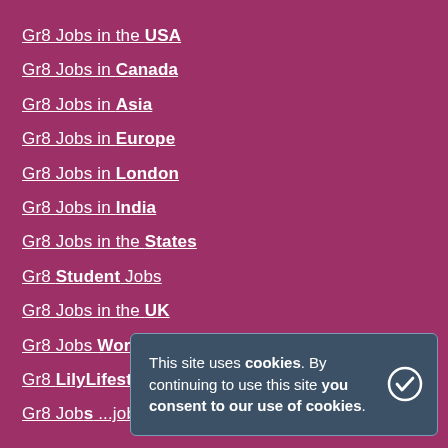Gr8 Jobs in the USA
Gr8 Jobs in Canada
Gr8 Jobs in Asia
Gr8 Jobs in Europe
Gr8 Jobs in London
Gr8 Jobs in India
Gr8 Jobs in the States
Gr8 Student Jobs
Gr8 Jobs in the UK
Gr8 Jobs Worldwide
Gr8 LilyLifestyle Jobs
Gr8 Job ...Jobs
This site uses cookies. By continuing to use this site you consent to our use of cookies.